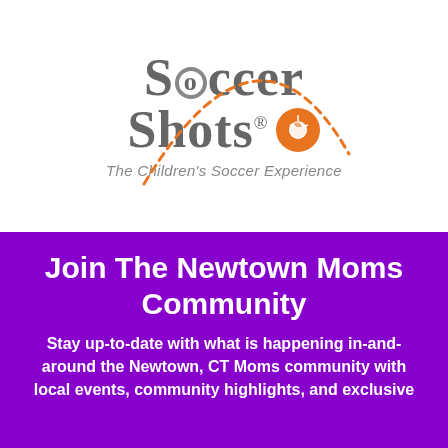[Figure (logo): Soccer Shots logo with dashed orange arc, soccer ball icon, and tagline 'The Children's Soccer Experience']
Join The Newtown Moms Community
Stay up-to-date with what is happening in-and-around the Newtown, CT Moms community with local events, community highlights, and exclusive